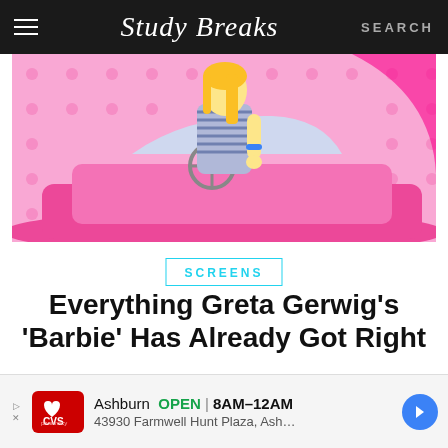Study Breaks — SEARCH
[Figure (photo): Barbie character (blonde woman in striped swimsuit) seated in a pink convertible car, pink dotted background, promotional image for the Barbie movie]
SCREENS
Everything Greta Gerwig's 'Barbie' Has Already Got Right
[Figure (photo): Partial image showing a figure on a magenta/pink background, bottom of article hero image]
Ashburn OPEN | 8AM–12AM 43930 Farmwell Hunt Plaza, Ash...